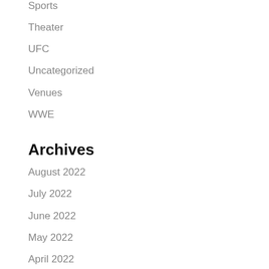Sports
Theater
UFC
Uncategorized
Venues
WWE
Archives
August 2022
July 2022
June 2022
May 2022
April 2022